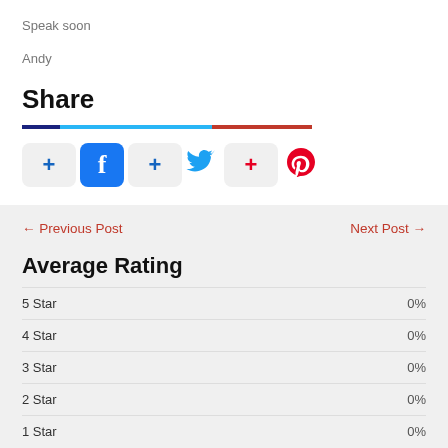Speak soon
Andy
Share
[Figure (infographic): Social share buttons: colored divider bar followed by a row of social media icons (Facebook, Twitter, Pinterest) with plus buttons]
← Previous Post
Next Post →
Average Rating
5 Star  0%
4 Star  0%
3 Star  0%
2 Star  0%
1 Star  0%